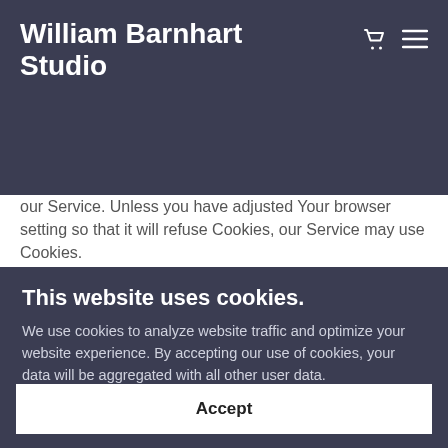William Barnhart Studio
Cookies or Browser Cookies. A cookie is a small file placed on Your Device. You can instruct Your browser to refuse all Cookies or to indicate when a Cookie is being sent. However, if You do not accept Cookies, You may not be able to use some parts of our Service. Unless you have adjusted Your browser setting so that it will refuse Cookies, our Service may use Cookies.
Flash Cookies. Certain features of our Service may
This website uses cookies.
We use cookies to analyze website traffic and optimize your website experience. By accepting our use of cookies, your data will be aggregated with all other user data.
Accept